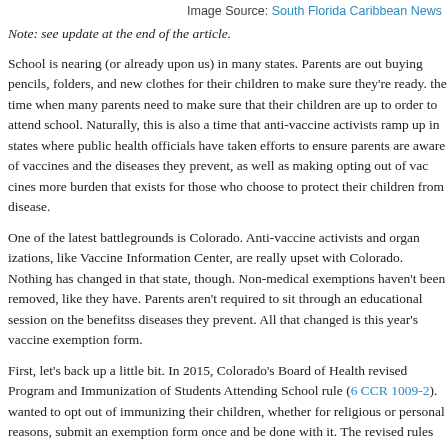Image Source: South Florida Caribbean News
Note: see update at the end of the article.
School is nearing (or already upon us) in many states. Parents are out buying pencils, folders, and new clothes for their children to make sure they're ready. It's the time when many parents need to make sure that their children are up to date in order to attend school. Naturally, this is also a time that anti-vaccine activists ramp up in states where public health officials have taken efforts to ensure parents are aware of vaccines and the diseases they prevent, as well as making opting out of vaccines more burden that exists for those who choose to protect their children from disease.
One of the latest battlegrounds is Colorado. Anti-vaccine activists and organizations, like Vaccine Information Center, are really upset with Colorado. Nothing has changed in that state, though. Non-medical exemptions haven't been removed, like they have in California. Parents aren't required to sit through an educational session on the benefits of vaccines and the diseases they prevent. All that changed is this year's vaccine exemption form.
First, let's back up a little bit. In 2015, Colorado's Board of Health revised the Immunization Program and Immunization of Students Attending School rule (6 CCR 1009-2). Parents who wanted to opt out of immunizing their children, whether for religious or personal reasons, could submit an exemption form once and be done with it. The revised rules require submitting a non-medical exemption form every year (or more frequently for infants in day care settings). Medical exemptions, both under the old rules and the new ones, only need to be sub...
Naturally, that wouldn't please anti-vaccine activists. When I initially saw this...